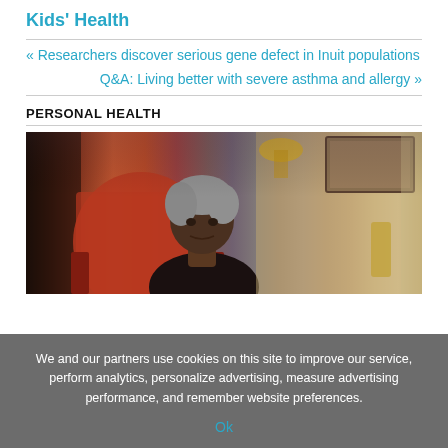Kids' Health
« Researchers discover serious gene defect in Inuit populations
Q&A: Living better with severe asthma and allergy »
PERSONAL HEALTH
[Figure (photo): Elderly Black woman seated in a red armchair in a home interior with framed pictures on the wall]
We and our partners use cookies on this site to improve our service, perform analytics, personalize advertising, measure advertising performance, and remember website preferences.
Ok